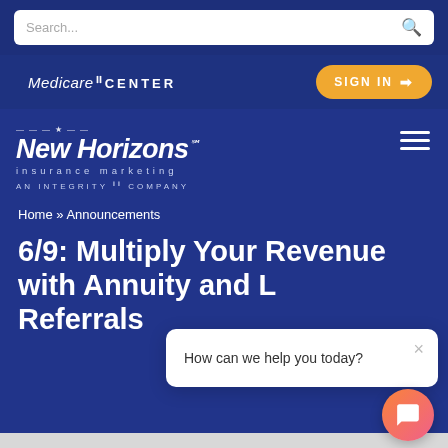[Figure (screenshot): Search bar with placeholder text 'Search...' and magnifying glass icon on dark blue background]
[Figure (screenshot): Navigation bar with Medicare II Center logo and orange Sign In button]
[Figure (logo): New Horizons Insurance Marketing - An Integrity Company logo in white on blue background]
Home » Announcements
6/9: Multiply Your Revenue with Annuity and L... Referrals
[Figure (screenshot): Chat popup widget with message 'How can we help you today?' and close button, with orange chat bubble icon]